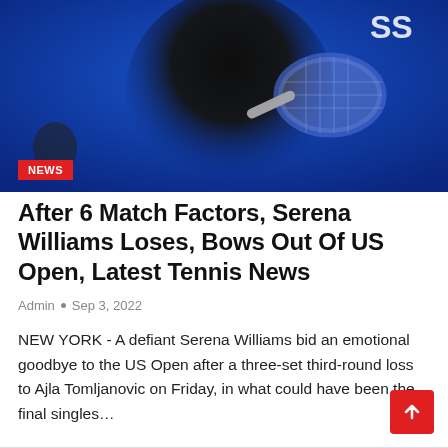[Figure (photo): Serena Williams in a black sparkly outfit holding a tennis racket on a blue-lit court background with a NEWS badge overlay]
After 6 Match Factors, Serena Williams Loses, Bows Out Of US Open, Latest Tennis News
Admin • Sep 3, 2022
NEW YORK - A defiant Serena Williams bid an emotional goodbye to the US Open after a three-set third-round loss to Ajla Tomljanovic on Friday, in what could have been the final singles…